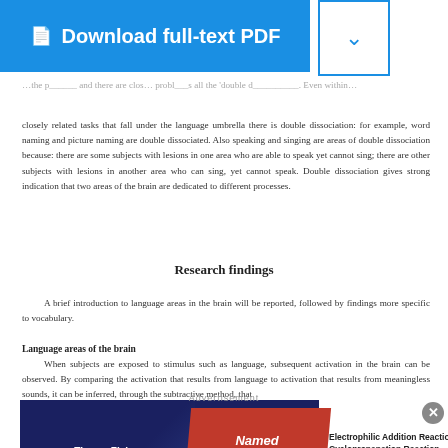[Figure (other): Blue 'Download full-text PDF' button with document icon, and a dropdown arrow box to the right]
closely related tasks that fall under the language umbrella there is double dissociation: for example, word naming and picture naming are double dissociated. Also speaking and singing are areas of double dissociation because: there are some subjects with lesions in one area who are able to speak yet cannot sing; there are other subjects with lesions in another area who can sing, yet cannot speak. Double dissociation gives strong indication that two areas of the brain are dedicated to different processes.
Research findings
A brief introduction to language areas in the brain will be reported, followed by findings more specific to vocabulary.
Language areas of the brain
When subjects are exposed to stimulus such as language, subsequent activation in the brain can be observed. By comparing the activation that results from language to activation that results from meaningless sounds, it can be inferred, through the subtractive method, that
[Figure (other): Advertisement banner: ThermoFisher Scientific Named Reactions in Organic Synthesis ad with 'Electrophilic Addition Reactions: Simmons-Smith Cyclopropanation Reaction' and Learn more button]